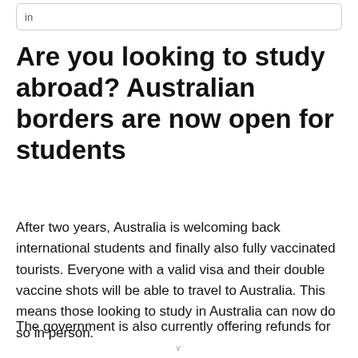[Figure (other): Search input box with text 'in']
Are you looking to study abroad? Australian borders are now open for students
After two years, Australia is welcoming back international students and finally also fully vaccinated tourists. Everyone with a valid visa and their double vaccine shots will be able to travel to Australia. This means those looking to study in Australia can now do so in person.
The government is also currently offering refunds for